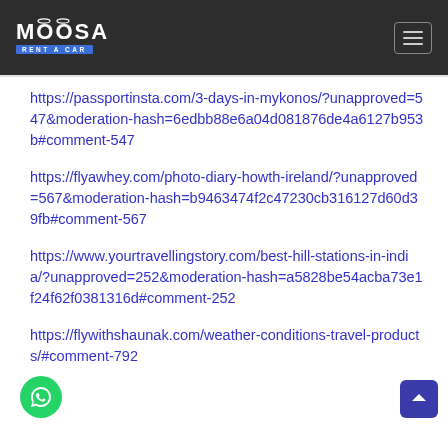MOOSA RENT A CAR
https://passportinsta.com/3-days-in-mykonos/?unapproved=547&moderation-hash=6edbb88e6a04d081876de4a6127b953b#comment-547
https://flyawhey.com/photo-diary-howth-ireland/?unapproved=567&moderation-hash=b9463474f2c47230cb316127d60d39fb#comment-567
https://www.yourtravellingstory.com/best-hill-stations-in-india/?unapproved=252&moderation-hash=a5828be54acba73e1f24f62f0381316d#comment-252
https://flywithshaunak.com/weather-conditions-travel-products/#comment-792